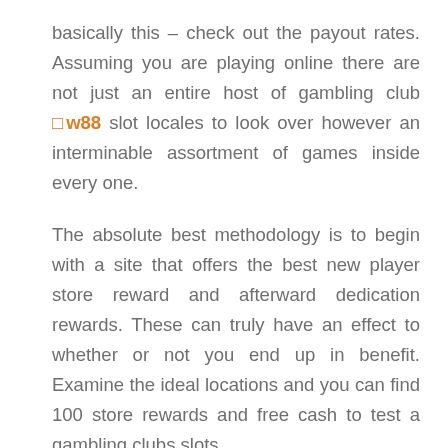basically this – check out the payout rates. Assuming you are playing online there are not just an entire host of gambling club □w88 slot locales to look over however an interminable assortment of games inside every one.
The absolute best methodology is to begin with a site that offers the best new player store reward and afterward dedication rewards. These can truly have an effect to whether or not you end up in benefit. Examine the ideal locations and you can find 100 store rewards and free cash to test a gambling clubs slots.